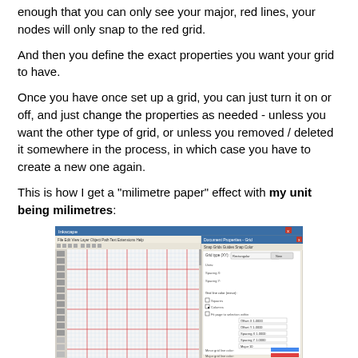enough that you can only see your major, red lines, your nodes will only snap to the red grid.
And then you define the exact properties you want your grid to have.
Once you have once set up a grid, you can just turn it on or off, and just change the properties as needed - unless you want the other type of grid, or unless you removed / deleted it somewhere in the process, in which case you have to create a new one again.
This is how I get a "milimetre paper" effect with my unit being milimetres:
[Figure (screenshot): Screenshot of a graphics application showing a grid editor interface with a canvas on the left displaying a fine grid pattern and a dialog panel on the right showing grid properties including color swatches for blue and red grid lines.]